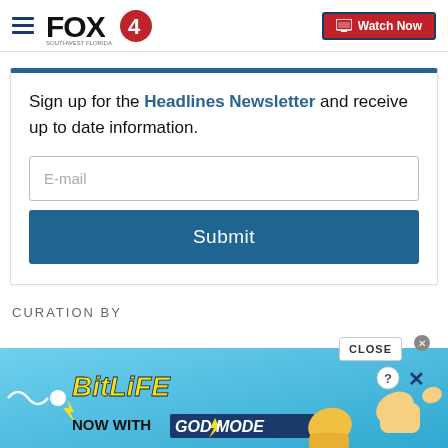FOX4 | Watch Now
Sign up for the Headlines Newsletter and receive up to date information.
E-mail
Submit
CURATION BY
[Figure (screenshot): BitLife advertisement banner with 'NOW WITH GOD MODE' text, thumbs up and pointing hand graphics on light blue gradient background. Includes CLOSE button and X dismiss controls.]